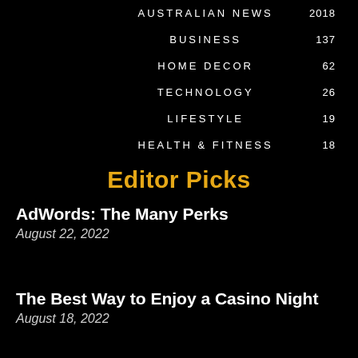| Category | Count |
| --- | --- |
| AUSTRALIAN NEWS | 2018 |
| BUSINESS | 137 |
| HOME DECOR | 62 |
| TECHNOLOGY | 26 |
| LIFESTYLE | 19 |
| HEALTH & FITNESS | 18 |
Editor Picks
AdWords: The Many Perks
August 22, 2022
The Best Way to Enjoy a Casino Night
August 18, 2022